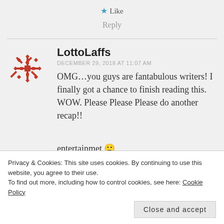★ Like
Reply
LottoLaffs
DECEMBER 29, 2018 AT 11:07 AM
OMG...you guys are fantabulous writers! I finally got a chance to finish reading this. WOW. Please Please Please do another recap!!
entertainmet 😊
Privacy & Cookies: This site uses cookies. By continuing to use this website, you agree to their use. To find out more, including how to control cookies, see here: Cookie Policy
Close and accept